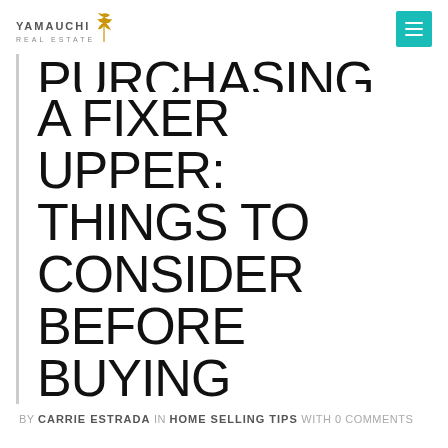YAMAUCHI REAL ESTATE
PURCHASING A FIXER UPPER: THINGS TO CONSIDER BEFORE BUYING
BY CARRIE ESTRADA IN HOME SELLING TIPS WITH 0 COMMENTS